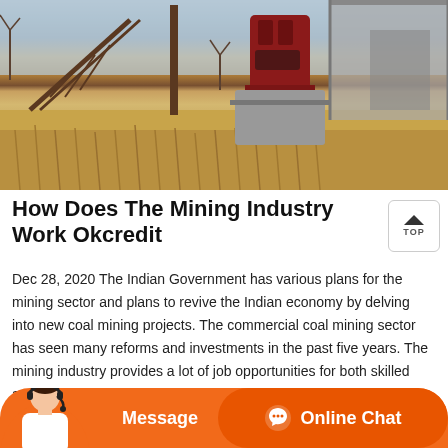[Figure (photo): Industrial mining equipment and machinery in a field with dry grass, showing a large crusher or processing machine on a concrete base with steel framework and a shed structure in the background]
How Does The Mining Industry Work Okcredit
Dec 28, 2020 The Indian Government has various plans for the mining sector and plans to revive the Indian economy by delving into new coal mining projects. The commercial coal mining sector has seen many reforms and investments in the past five years. The mining industry provides a lot of job opportunities for both skilled and unskilled labour, it is a core ...
[Figure (screenshot): Bottom chat bar with orange background showing Message button and Online Chat button with headset icon, and a customer service avatar on the left]